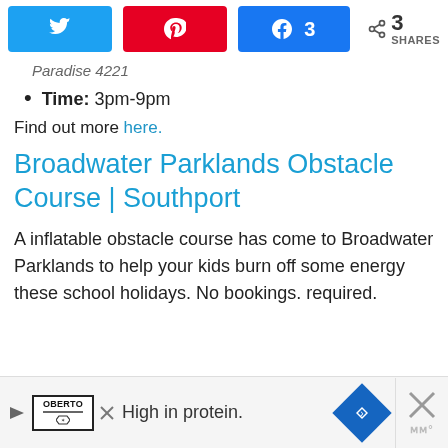[Figure (screenshot): Social share bar with Twitter (blue), Pinterest (red), Facebook with count 3 (blue), and share icon showing 3 SHARES]
Paradise 4221
Time: 3pm-9pm
Find out more here.
Broadwater Parklands Obstacle Course | Southport
A inflatable obstacle course has come to Broadwater Parklands to help your kids burn off some energy these school holidays. No bookings. required.
[Figure (screenshot): Advertisement bar: Oberto logo with arrow, text 'High in protein.', blue diamond arrow icon, close X button with weather widget]